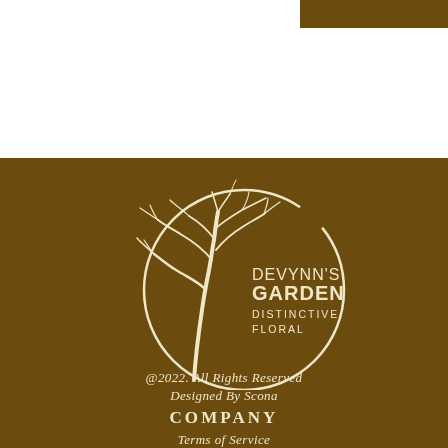[Figure (logo): Devynn's Garden Distinctive Floral logo: white bare tree overlapping a white circle outline on dark brown background, with text DEVYNN'S GARDEN DISTINCTIVE FLORAL]
@2022. All Rights Reserved
Designed By Scona
COMPANY
Terms of Service